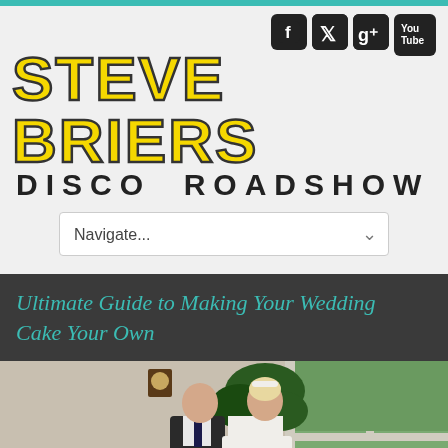[Figure (logo): Steve Briers Disco Roadshow logo with social media icons (Facebook, Twitter, Google+, YouTube)]
Navigate...
Ultimate Guide to Making Your Wedding Cake Your Own
[Figure (photo): Wedding couple cutting a white tiered cake indoors, bride in white dress with headband, groom in dark vest and tie, green plant in background, large window on right]